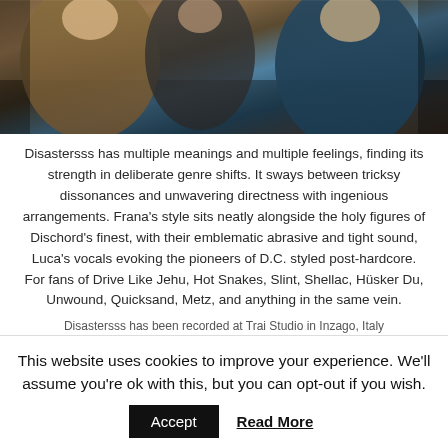[Figure (photo): A group of people (a band) photographed in what appears to be an outdoor or industrial setting. One person wears a brown/yellow jacket on the left, another wears a blue hoodie on the right.]
Disastersss has multiple meanings and multiple feelings, finding its strength in deliberate genre shifts. It sways between tricksy dissonances and unwavering directness with ingenious arrangements. Frana's style sits neatly alongside the holy figures of Dischord's finest, with their emblematic abrasive and tight sound, Luca's vocals evoking the pioneers of D.C. styled post-hardcore. For fans of Drive Like Jehu, Hot Snakes, Slint, Shellac, Hüsker Du, Unwound, Quicksand, Metz, and anything in the same vein.
Disastersss has been recorded at Trai Studio in Inzago, Italy
This website uses cookies to improve your experience. We'll assume you're ok with this, but you can opt-out if you wish.